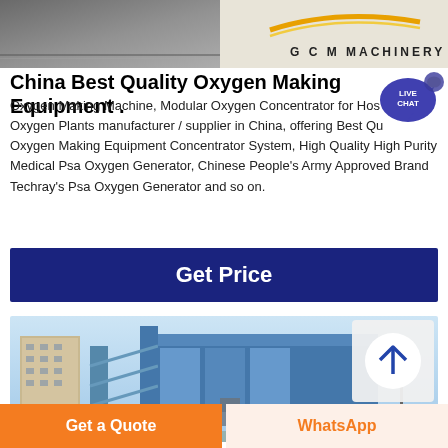[Figure (photo): Top image showing machinery interior with GCM Machinery logo on light background]
China Best Quality Oxygen Making Equipment .
Oxygen Making Machine, Modular Oxygen Concentrator for Hospital Oxygen Plants manufacturer / supplier in China, offering Best Quality Oxygen Making Equipment Concentrator System, High Quality High Purity Medical Psa Oxygen Generator, Chinese People's Army Approved Brand Techray's Psa Oxygen Generator and so on.
[Figure (other): Live Chat speech bubble button overlay]
[Figure (infographic): Dark blue Get Price button]
[Figure (photo): Industrial oxygen generating plant with blue steel structure and buildings in background, with scroll-to-top button overlay]
[Figure (other): Get a Quote orange button at bottom left]
[Figure (other): WhatsApp button at bottom right]